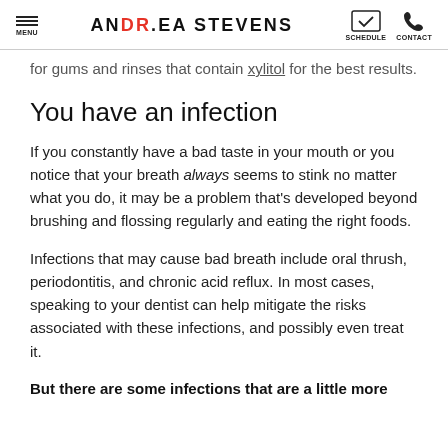ANDREA STEVENS — MENU / SCHEDULE / CONTACT
for gums and rinses that contain xylitol for the best results.
You have an infection
If you constantly have a bad taste in your mouth or you notice that your breath always seems to stink no matter what you do, it may be a problem that's developed beyond brushing and flossing regularly and eating the right foods.
Infections that may cause bad breath include oral thrush, periodontitis, and chronic acid reflux. In most cases, speaking to your dentist can help mitigate the risks associated with these infections, and possibly even treat it.
But there are some infections that are a little more